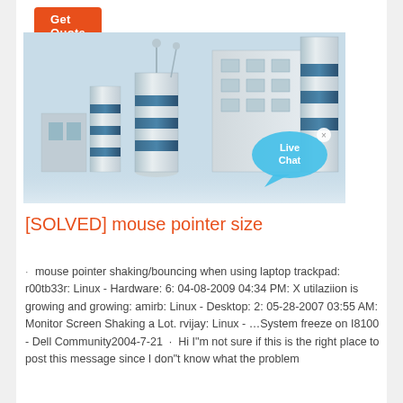[Figure (other): Orange 'Get Quote' button at top left]
[Figure (photo): Industrial cement/concrete plant with white and blue cylindrical silos against a light blue sky, with a 'Live Chat' speech bubble overlay in the bottom right corner]
[SOLVED] mouse pointer size
· mouse pointer shaking/bouncing when using laptop trackpad: r00tb33r: Linux - Hardware: 6: 04-08-2009 04:34 PM: X utilaziion is growing and growing: amirb: Linux - Desktop: 2: 05-28-2007 03:55 AM: Monitor Screen Shaking a Lot. rvijay: Linux - …System freeze on I8100 - Dell Community2004-7-21 · Hi I"m not sure if this is the right place to post this message since I don"t know what the problem